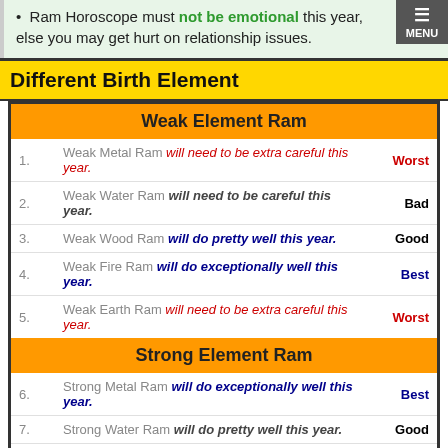Ram Horoscope must not be emotional this year, else you may get hurt on relationship issues.
Different Birth Element
| # | Description | Rating |
| --- | --- | --- |
| 1. | Weak Metal Ram will need to be extra careful this year. | Worst |
| 2. | Weak Water Ram will need to be careful this year. | Bad |
| 3. | Weak Wood Ram will do pretty well this year. | Good |
| 4. | Weak Fire Ram will do exceptionally well this year. | Best |
| 5. | Weak Earth Ram will need to be extra careful this year. | Worst |
| 6. | Strong Metal Ram will do exceptionally well this year. | Best |
| 7. | Strong Water Ram will do pretty well this year. | Good |
| 8. | Strong Wood Ram will need to be careful this year. | Bad |
| 9. | Strong Fire Ram will need to be extra careful this year. | Worst |